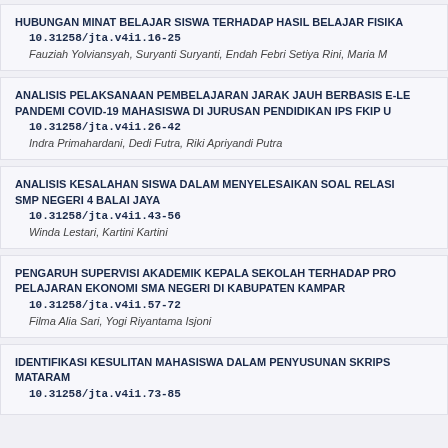HUBUNGAN MINAT BELAJAR SISWA TERHADAP HASIL BELAJAR FISIKA 10.31258/jta.v4i1.16-25
Fauziah Yolviansyah, Suryanti Suryanti, Endah Febri Setiya Rini, Maria M
ANALISIS PELAKSANAAN PEMBELAJARAN JARAK JAUH BERBASIS E-LE PANDEMI COVID-19 MAHASISWA DI JURUSAN PENDIDIKAN IPS FKIP U 10.31258/jta.v4i1.26-42
Indra Primahardani, Dedi Futra, Riki Apriyandi Putra
ANALISIS KESALAHAN SISWA DALAM MENYELESAIKAN SOAL RELASI SMP NEGERI 4 BALAI JAYA 10.31258/jta.v4i1.43-56
Winda Lestari, Kartini Kartini
PENGARUH SUPERVISI AKADEMIK KEPALA SEKOLAH TERHADAP PRO PELAJARAN EKONOMI SMA NEGERI DI KABUPATEN KAMPAR 10.31258/jta.v4i1.57-72
Filma Alia Sari, Yogi Riyantama Isjoni
IDENTIFIKASI KESULITAN MAHASISWA DALAM PENYUSUNAN SKRIPS MATARAM 10.31258/jta.v4i1.73-85